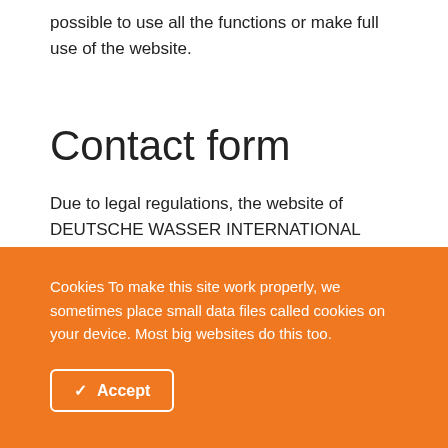possible to use all the functions or make full use of the website.
Contact form
Due to legal regulations, the website of DEUTSCHE WASSER INTERNATIONAL GMBH contains information
Cookies To make this site work properly, we sometimes place small data files called cookies on your device. Most big websites do this too.
Accept